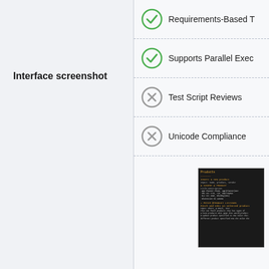Requirements-Based T
Supports Parallel Exec
Test Script Reviews
Unicode Compliance
Interface screenshot
[Figure (screenshot): Dark-themed terminal/console interface screenshot showing code or database content with orange/amber text on dark background]